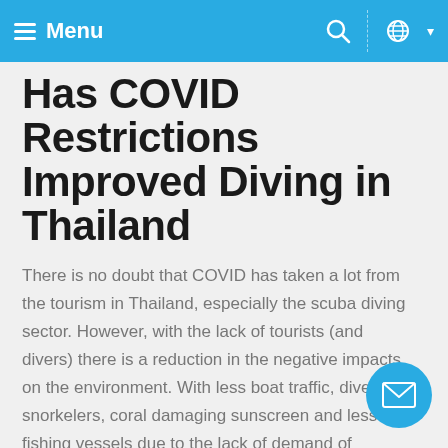Menu
Has COVID Restrictions Improved Diving in Thailand
There is no doubt that COVID has taken a lot from the tourism in Thailand, especially the scuba diving sector. However, with the lack of tourists (and divers) there is a reduction in the negative impacts on the environment. With less boat traffic, divers, snorkelers, coral damaging sunscreen and less fishing vessels due to the lack of demand of seafood the strain has been greatly. It appears that the COVID restrictions has improved diving in Thailand. Although the lack of divers and